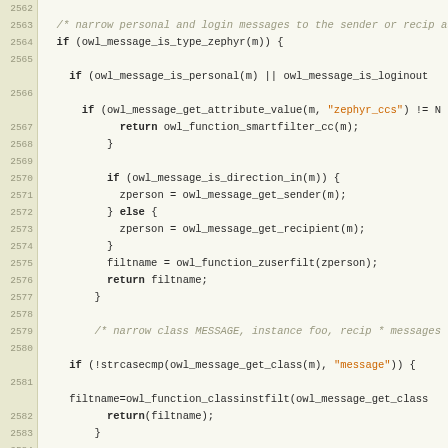[Figure (screenshot): Source code viewer showing C code lines 2562-2587 with line numbers on the left in a tan/beige background and code on the right in a light cream background. Code includes function calls like owl_message_is_type_zephyr, owl_message_is_personal, owl_message_get_attribute_value with string 'zephyr_ccs', owl_function_smartfilter_cc, owl_message_is_direction_in, owl_message_get_sender, owl_message_get_recipient, owl_function_zuserfilt, owl_function_classinstfilt, with comments in italic gray and keywords in bold, string literals in orange.]